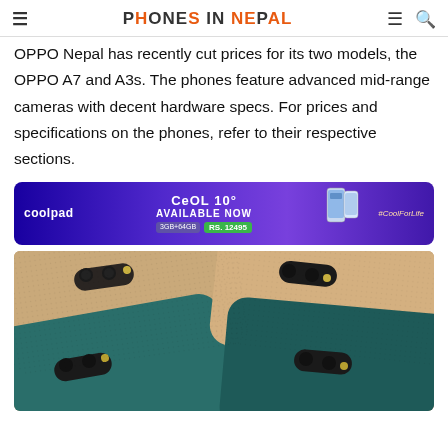PHONES IN NEPAL
OPPO Nepal has recently cut prices for its two models, the OPPO A7 and A3s. The phones feature advanced mid-range cameras with decent hardware specs. For prices and specifications on the phones, refer to their respective sections.
[Figure (photo): Coolpad Cool 10 advertisement banner: purple gradient background, coolpad logo on left, COOL 10 product name center with AVAILABLE NOW text, 3GB+64GB spec pill and RS. 12495 price pill, phone image in center-right, #CoolForLife hashtag on right]
[Figure (photo): Product photo showing backs of multiple OPPO smartphones in gold and teal/green color variants, displaying dual camera modules with oval housing and flash]